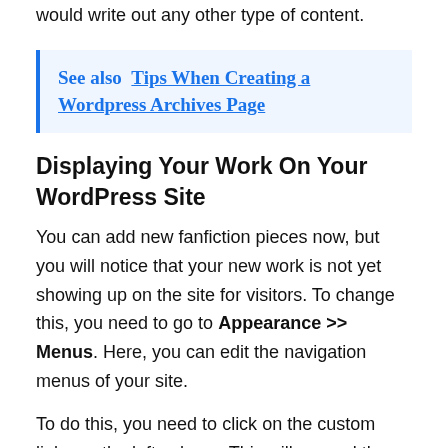would write out any other type of content.
See also  Tips When Creating a Wordpress Archives Page
Displaying Your Work On Your WordPress Site
You can add new fanfiction pieces now, but you will notice that your new work is not yet showing up on the site for visitors. To change this, you need to go to Appearance >> Menus. Here, you can edit the navigation menus of your site.
To do this, you need to click on the custom links on the left column. This will expand them. Then, you can type the URL of your fanfic archive page into the space